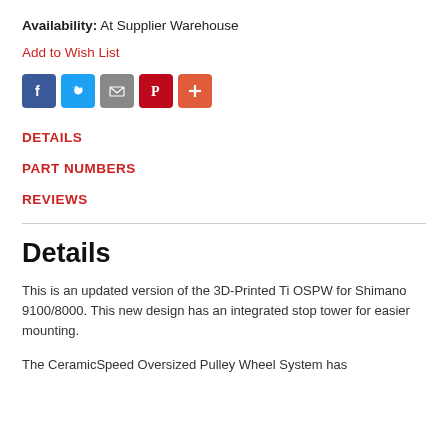Availability: At Supplier Warehouse
Add to Wish List
[Figure (infographic): Social sharing icons: Facebook (blue), Twitter (light blue), Email (grey), Pinterest (red), Plus/More (orange-red)]
DETAILS
PART NUMBERS
REVIEWS
Details
This is an updated version of the 3D-Printed Ti OSPW for Shimano 9100/8000. This new design has an integrated stop tower for easier mounting.
The CeramicSpeed Oversized Pulley Wheel System has